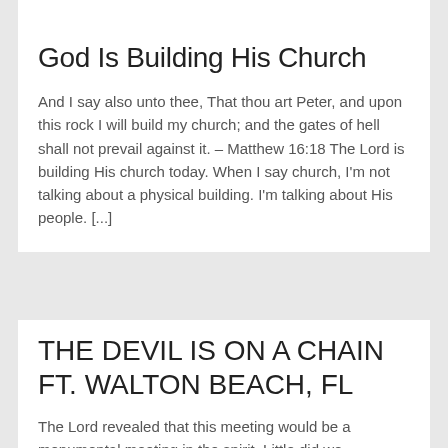God Is Building His Church
And I say also unto thee, That thou art Peter, and upon this rock I will build my church; and the gates of hell shall not prevail against it. – Matthew 16:18 The Lord is building His church today. When I say church, I'm not talking about a physical building. I'm talking about His people. [...]
THE DEVIL IS ON A CHAIN FT. WALTON BEACH, FL
The Lord revealed that this meeting would be a monumental meeting in the spirit. Little did we